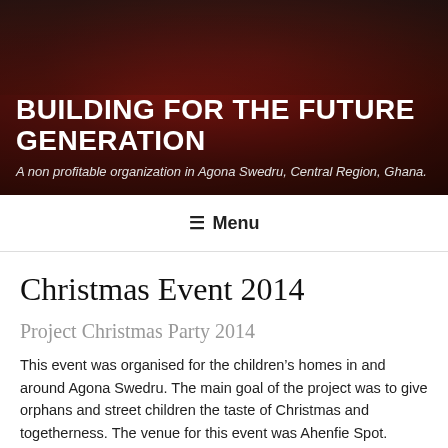[Figure (photo): Hero image showing people dressed in red Santa Claus costumes, outdoors, with dark overlay]
BUILDING FOR THE FUTURE GENERATION
A non profitable organization in Agona Swedru, Central Region, Ghana.
≡ Menu
Christmas Event 2014
Project Christmas Party 2014
This event was organised for the children's homes in and around Agona Swedru. The main goal of the project was to give orphans and street children the taste of Christmas and togetherness. The venue for this event was Ahenfie Spot.